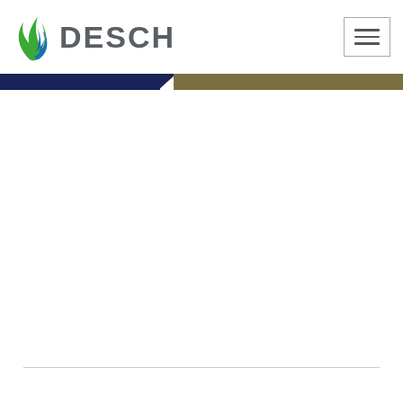DESCH — website header with logo and navigation menu button
[Figure (logo): DESCH company logo: green and blue flame/leaf icon on the left, bold gray 'DESCH' text on the right]
[Figure (screenshot): Horizontal dark navy banner strip across the page, with a diagonal cut revealing a partial photo of a person on the right side (dark olive/gold tone)]